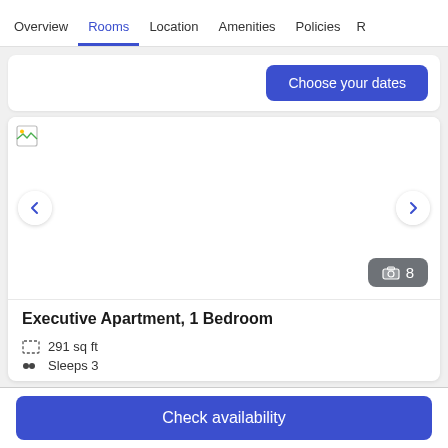Overview  Rooms  Location  Amenities  Policies  R
Choose your dates
[Figure (screenshot): Room image carousel with broken image placeholder, left and right navigation arrows, and a photo count badge showing 8]
Executive Apartment, 1 Bedroom
291 sq ft
Sleeps 3
Check availability